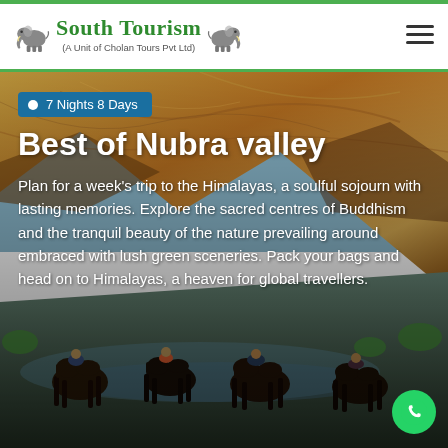[Figure (logo): South Tourism logo with two elephants flanking text 'South Tourism' and subtitle '(A Unit of Cholan Tours Pvt Ltd)']
[Figure (photo): Background hero image showing people riding camels/horses in Nubra Valley with rocky golden Himalayan mountains in background]
7 Nights 8 Days
Best of Nubra valley
Plan for a week's trip to the Himalayas, a soulful sojourn with lasting memories. Explore the sacred centres of Buddhism and the tranquil beauty of the nature prevailing around embraced with lush green sceneries. Pack your bags and head on to Himalayas, a heaven for global travellers.
[Figure (logo): WhatsApp icon button (green circle with phone handset icon)]